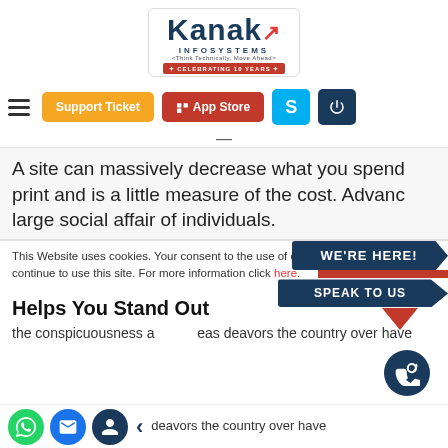[Figure (logo): Kanak Infosystems logo with tagline 'Think Technically, Move Ahead' and 'Celebrating 10 Years' banner]
[Figure (screenshot): Navigation bar with hamburger menu, Support Ticket button (orange), App Store button (red), Skype icon (blue), Login icon (dark navy)]
A site can massively decrease what you spend print and is a little measure of the cost. Advanc large social affair of individuals.
This Website uses cookies. Your consent to the use of cookies is required in case you continue to use this site. For more information click here.
[Figure (infographic): WE'RE HERE! SPEAK TO US banner badge in dark navy blue with red accent stripe and pointer]
Helps You Stand Out
the conspicuousness a eas deavors the country over have
[Figure (infographic): Phone/chat circular icon in dark navy at bottom right]
[Figure (infographic): Bottom bar with WhatsApp (green), email (blue), contact (navy) icons and left arrow]